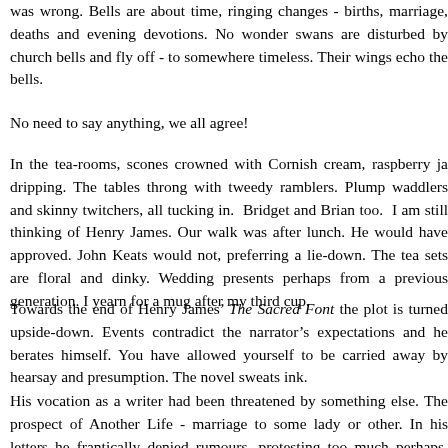was wrong. Bells are about time, ringing changes - births, marriage, deaths and evening devotions. No wonder swans are disturbed by church bells and fly off - to somewhere timeless. Their wings echo the bells.
No need to say anything, we all agree!
In the tea-rooms, scones crowned with Cornish cream, raspberry ja dripping. The tables throng with tweedy ramblers. Plump waddlers and skinny twitchers, all tucking in. Bridget and Brian too. I am still thinking of Henry James. Our walk was after lunch. He would have approved. John Keats would not, preferring a lie-down. The tea sets are floral and dinky. Wedding presents perhaps from a previous generation. I yearn for a mug after my third cup.
Towards the end of Henry James' The Sacred Font the plot is turned upside-down. Events contradict the narrator's expectations and he berates himself. You have allowed yourself to be carried away by hearsay and presumption. The novel sweats ink.
His vocation as a writer had been threatened by something else. The prospect of Another Life - marriage to some lady or other. In his letters he frantically denied rumours, protesting too much perhaps. Jane Austi who almost became Mrs Black-Whittee would have understo